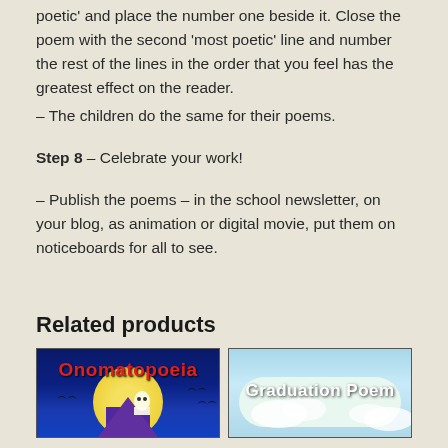poetic' and place the number one beside it. Close the poem with the second 'most poetic' line and number the rest of the lines in the order that you feel has the greatest effect on the reader.
– The children do the same for their poems.
Step 8 – Celebrate your work!
– Publish the poems – in the school newsletter, on your blog, as animation or digital movie, put them on noticeboards for all to see.
Related products
[Figure (illustration): Book cover for Onomatopoeia — dark blue night sky background with moon, bats, and a haunted house. Title in red bold text at top.]
[Figure (illustration): Book cover for Graduation Poem — light blue sky background with clouds. Title in white bold text.]